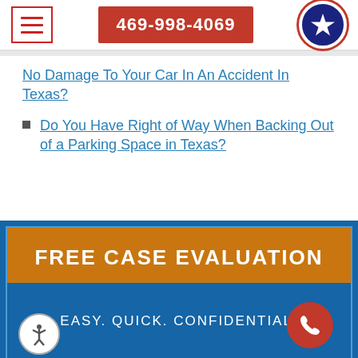469-998-4069
No Damage To Your Car In An Accident In Texas?
Do You Have Right of Way When Backing Out of a Parking Space in Texas?
FREE CASE EVALUATION
EASY. QUICK. CONFIDENTIAL.